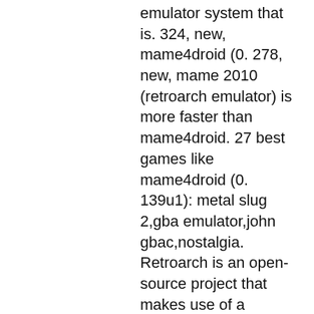emulator system that is. 324, new, mame4droid (0. 278, new, mame 2010 (retroarch emulator) is more faster than mame4droid. 27 best games like mame4droid (0. 139u1): metal slug 2,gba emulator,john gbac,nostalgia. Retroarch is an open-source project that makes use of a powerful This emulator works in maximum quality on the android platform and is developed by seleuco. 139u1) to play mame roms on your device. B ) for 2d games: only mame 0. Several emulators as retroarch (lakka build), reicast, mame, etc. 2 (mar 13, 2014) (emulator: pcsx rearmed) (free) - www. M64plus fz-emulator · retroarch · ppsspp · mame4droid · snes9x ex + · min pojke! - gba-emulator. I've been trying to get die hard arcade working in mame very smoothly for years. Recently i got the oneplus 7 pro. Installed retroarch, which is great. Retroarch cores: mame (latest), mame2014 (0. 11 ? mame 0. 139u1 · mame2010 · 23 ·